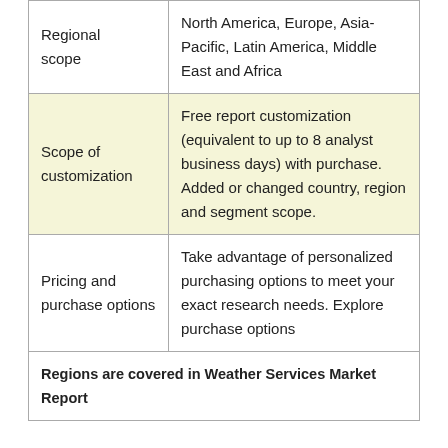| Regional scope | North America, Europe, Asia-Pacific, Latin America, Middle East and Africa |
| Scope of customization | Free report customization (equivalent to up to 8 analyst business days) with purchase. Added or changed country, region and segment scope. |
| Pricing and purchase options | Take advantage of personalized purchasing options to meet your exact research needs. Explore purchase options |
| Regions are covered in Weather Services Market Report |  |